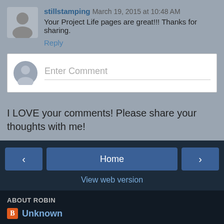stillstamping March 19, 2015 at 10:48 AM
Your Project Life pages are great!!! Thanks for sharing.
Reply
[Figure (other): Enter Comment input box with default user avatar icon]
I LOVE your comments! Please share your thoughts with me!
[Figure (other): Navigation bar with back arrow, Home button, and forward arrow buttons]
View web version
ABOUT ROBIN
Unknown
View my complete profile